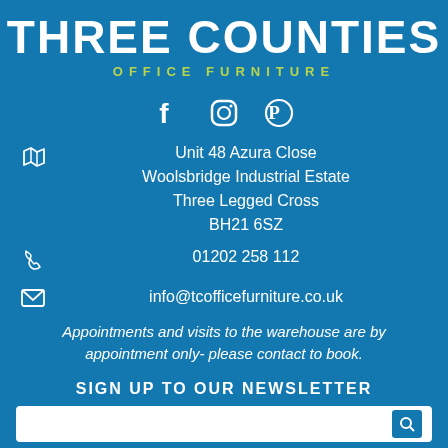THREE COUNTIES OFFICE FURNITURE
[Figure (logo): Social media icons: Facebook, Instagram, Pinterest]
Unit 48 Azura Close
Woolsbridge Industrial Estate
Three Legged Cross
BH21 6SZ
01202 258 112
info@tcofficefurniture.co.uk
Appointments and visits to the warehouse are by appointment only- please contact to book.
SIGN UP TO OUR NEWSLETTER